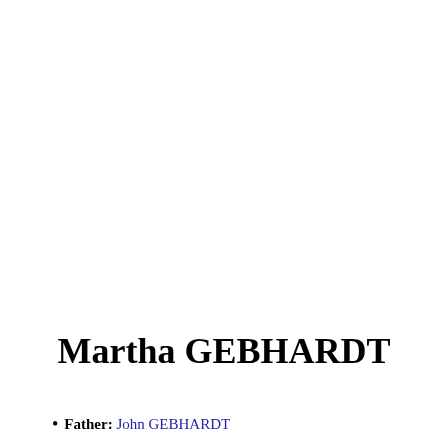Martha GEBHARDT
Father: John GEBHARDT